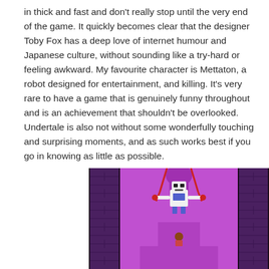in thick and fast and don't really stop until the very end of the game. It quickly becomes clear that the designer Toby Fox has a deep love of internet humour and Japanese culture, without sounding like a try-hard or feeling awkward. My favourite character is Mettaton, a robot designed for entertainment, and killing. It's very rare to have a game that is genuinely funny throughout and is an achievement that shouldn't be overlooked. Undertale is also not without some wonderfully touching and surprising moments, and as such works best if you go in knowing as little as possible.
[Figure (screenshot): A screenshot from the game Undertale showing a pixel art scene with a purple stage/arena. A robot character (Mettaton) is suspended by red chains against a purple backdrop with brick columns on either side. A small character stands below on the purple platform. The entire scene is set against a black background.]